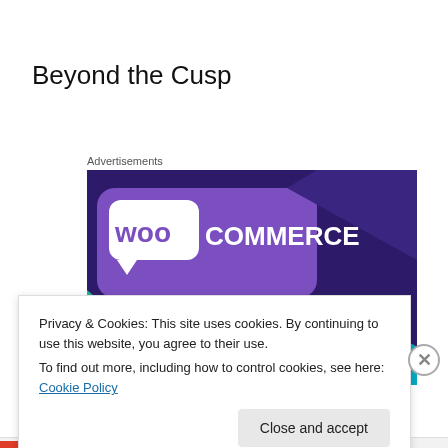Beyond the Cusp
Advertisements
[Figure (illustration): WooCommerce advertisement banner with purple background showing WooCommerce logo and text 'Turn your hobby into']
Privacy & Cookies: This site uses cookies. By continuing to use this website, you agree to their use.
To find out more, including how to control cookies, see here: Cookie Policy
Close and accept